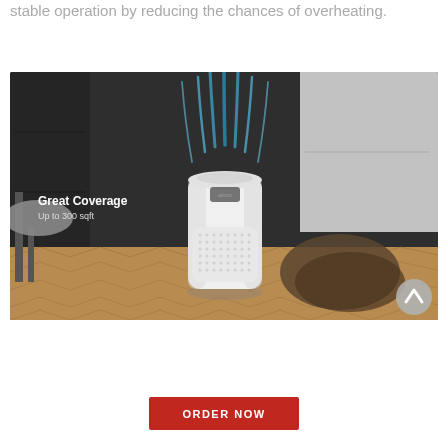stable operation by reducing the chances of overheating.
[Figure (photo): Air purifier (white cylindrical device) sitting on herringbone parquet floor in front of dark cabinet/furniture. Blue airflow streams rise from the top of the device. Overlay text reads 'Great Coverage' and 'Up to 300 sqft'. A scroll-up circular arrow button is visible in the lower right corner of the image.]
ORDER NOW